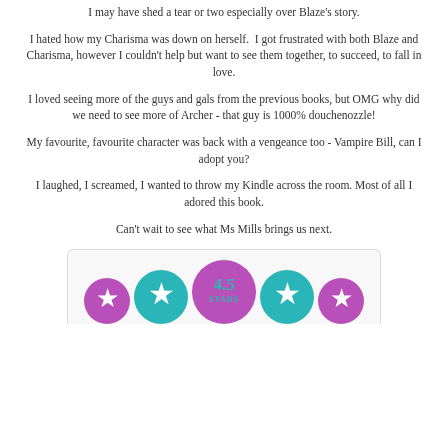I may have shed a tear or two especially over Blaze's story.
I hated how my Charisma was down on herself.  I got frustrated with both Blaze and Charisma, however I couldn't help but want to see them together, to succeed, to fall in love.
I loved seeing more of the guys and gals from the previous books, but OMG why did we need to see more of Archer - that guy is 1000% douchenozzle!
My favourite, favourite character was back with a vengeance too - Vampire Bill, can I adopt you?
I laughed, I screamed, I wanted to throw my Kindle across the room. Most of all I adored this book.
Can't wait to see what Ms Mills brings us next.
[Figure (infographic): A star rating graphic showing 4.5 stars out of 5. Five star circles arranged horizontally: two purple stars on the outside, two teal stars inside those, and a larger central purple circle displaying '4.5 STARS' in teal text.]